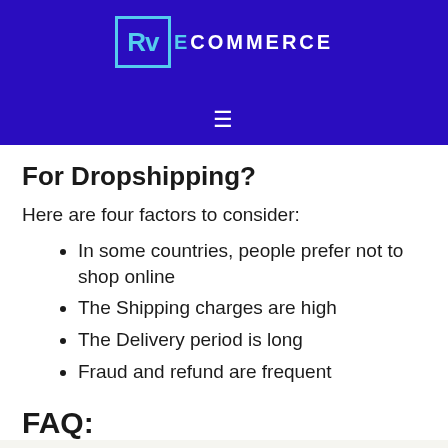Rv Ecommerce
For Dropshipping?
Here are four factors to consider:
In some countries, people prefer not to shop online
The Shipping charges are high
The Delivery period is long
Fraud and refund are frequent
FAQ: